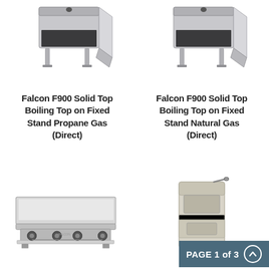[Figure (photo): Falcon F900 Solid Top Boiling Top on Fixed Stand appliance, gray stainless steel, open base cabinet with legs]
Falcon F900 Solid Top Boiling Top on Fixed Stand Propane Gas (Direct)
[Figure (photo): Falcon F900 Solid Top Boiling Top on Fixed Stand appliance, gray stainless steel, open base cabinet with legs]
Falcon F900 Solid Top Boiling Top on Fixed Stand Natural Gas (Direct)
[Figure (photo): Wide flat griddle/plancha with two burner knobs, stainless steel, countertop model]
[Figure (photo): Tall narrow commercial fryer unit, beige/cream colored, with lid handle]
PAGE 1 of 3